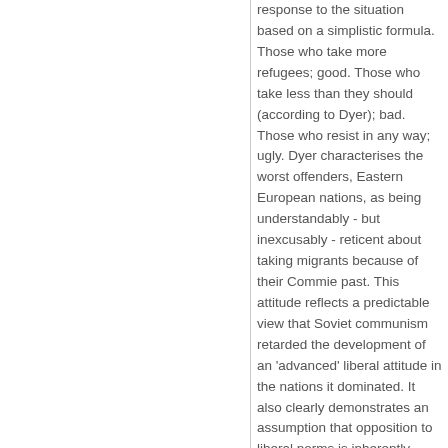response to the situation based on a simplistic formula. Those who take more refugees; good. Those who take less than they should (according to Dyer); bad. Those who resist in any way; ugly. Dyer characterises the worst offenders, Eastern European nations, as being understandably - but inexcusably - reticent about taking migrants because of their Commie past. This attitude reflects a predictable view that Soviet communism retarded the development of an 'advanced' liberal attitude in the nations it dominated. It also clearly demonstrates an assumption that opposition to liberal norms is inherently wrong and bad. No need to worry your heads about any details or analysis, kids, this